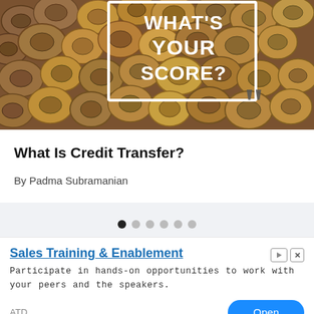[Figure (photo): Photo of stacked firewood logs with bold white text overlay reading WHAT'S YOUR SCORE? inside a white rectangle border, with a large quotation mark graphic]
What Is Credit Transfer?
By Padma Subramanian
[Figure (other): Navigation dots row: 6 circular dots, first filled black, remaining grey]
[Figure (other): Advertisement banner: Sales Training & Enablement by ATD. Text: Participate in hands-on opportunities to work with your peers and the speakers. Open button.]